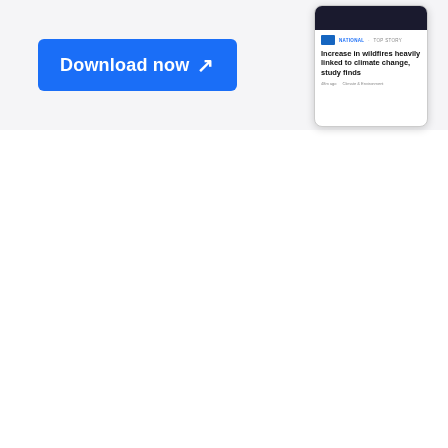[Figure (screenshot): A light gray banner section containing a blue 'Download now ↗' button on the left and a phone mockup screenshot on the right showing a news article headline 'Increase in wildfires heavily linked to climate change, study finds' with NATIONAL · TOP STORY tags.]